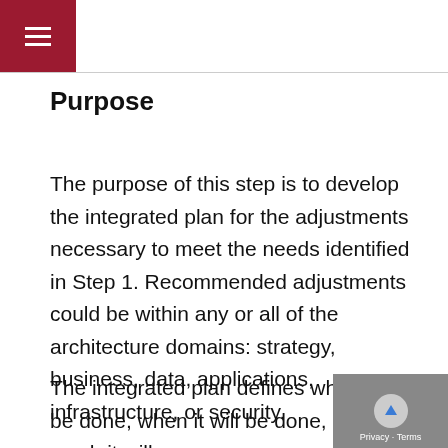☰
Purpose
The purpose of this step is to develop the integrated plan for the adjustments necessary to meet the needs identified in Step 1. Recommended adjustments could be within any or all of the architecture domains: strategy, business, data, applications, infrastructure, or security.
The integrated plan defines what will be done, when it will be done, how much it will